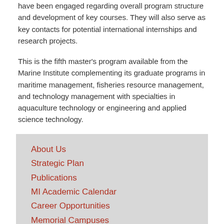have been engaged regarding overall program structure and development of key courses. They will also serve as key contacts for potential international internships and research projects.
This is the fifth master's program available from the Marine Institute complementing its graduate programs in maritime management, fisheries resource management, and technology management with specialties in aquaculture technology or engineering and applied science technology.
Classes will begin in September 2016. More information about courses and admission requirements are available at www.mi.mun.ca/msp. For further details about the program, check out this short video.
About Us
Strategic Plan
Publications
MI Academic Calendar
Career Opportunities
Memorial Campuses
MI Staff Webmail
Emergency Management